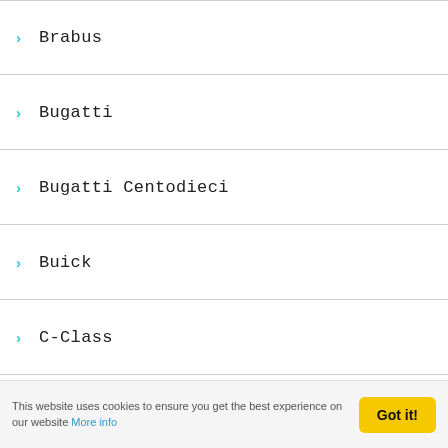Brabus
Bugatti
Bugatti Centodieci
Buick
C-Class
Cabriolet
Cadillac
Carrera
Cayenne
Cayman
Chevrolet
Citroen
This website uses cookies to ensure you get the best experience on our website More info